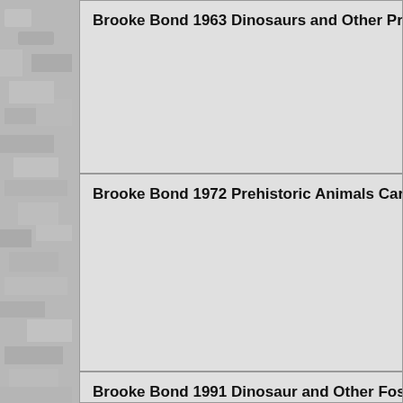Brooke Bond 1963 Dinosaurs and Other Prehistoric Animals
Brooke Bond 1972 Prehistoric Animals Cards
Brooke Bond 1991 Dinosaur and Other Fossils